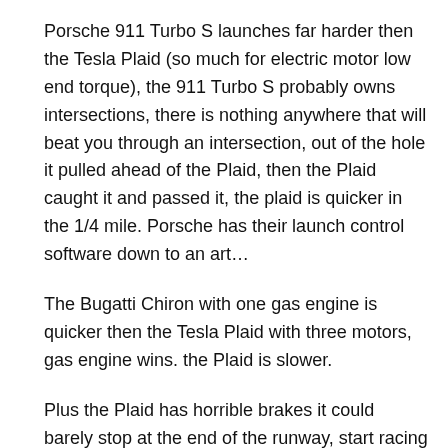Porsche 911 Turbo S launches far harder then the Tesla Plaid (so much for electric motor low end torque), the 911 Turbo S probably owns intersections, there is nothing anywhere that will beat you through an intersection, out of the hole it pulled ahead of the Plaid, then the Plaid caught it and passed it, the plaid is quicker in the 1/4 mile. Porsche has their launch control software down to an art…
The Bugatti Chiron with one gas engine is quicker then the Tesla Plaid with three motors, gas engine wins. the Plaid is slower.
Plus the Plaid has horrible brakes it could barely stop at the end of the runway, start racing it and the Plaid falls down.